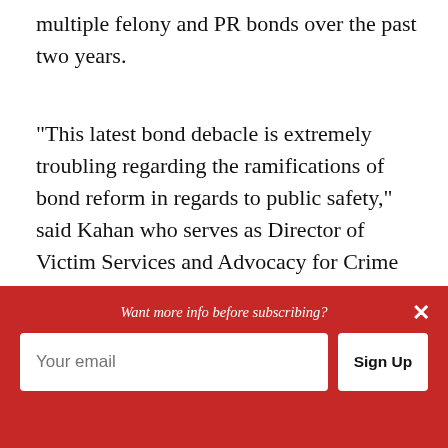multiple felony and PR bonds over the past two years.
“This latest bond debacle is extremely troubling regarding the ramifications of bond reform in regards to public safety,” said Kahan who serves as Director of Victim Services and Advocacy for Crime Stoppers.
“There can be no justification to continually release a habitual violent felon back to the
[Figure (other): Red subscription banner overlay with prompt text 'Want more info before subscribing?', an email input field, a Sign Up button, and a close (X) button.]